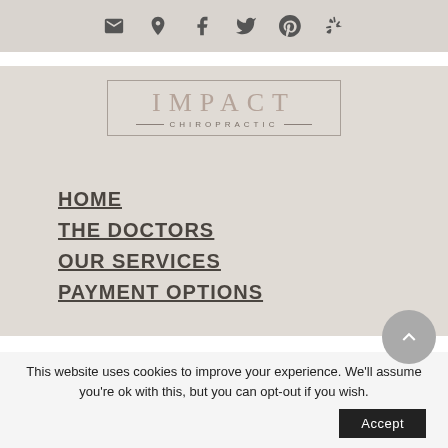Social/contact icon bar: email, location, facebook, twitter, pinterest, yelp
[Figure (logo): Impact Chiropractic logo with border box, large serif IMPACT text and smaller CHIROPRACTIC subtitle with horizontal lines]
HOME
THE DOCTORS
OUR SERVICES
PAYMENT OPTIONS
This website uses cookies to improve your experience. We'll assume you're ok with this, but you can opt-out if you wish.
Accept